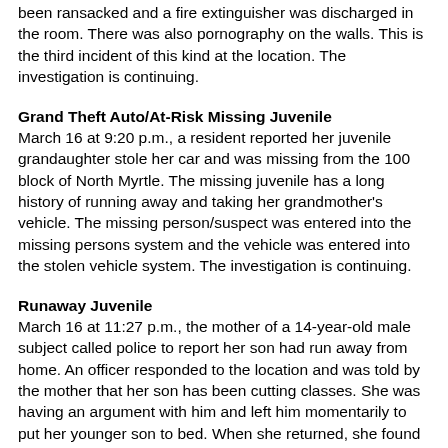been ransacked and a fire extinguisher was discharged in the room. There was also pornography on the walls. This is the third incident of this kind at the location. The investigation is continuing.
Grand Theft Auto/At-Risk Missing Juvenile
March 16 at 9:20 p.m., a resident reported her juvenile grandaughter stole her car and was missing from the 100 block of North Myrtle. The missing juvenile has a long history of running away and taking her grandmother's vehicle. The missing person/suspect was entered into the missing persons system and the vehicle was entered into the stolen vehicle system. The investigation is continuing.
Runaway Juvenile
March 16 at 11:27 p.m., the mother of a 14-year-old male subject called police to report her son had run away from home. An officer responded to the location and was told by the mother that her son has been cutting classes. She was having an argument with him and left him momentarily to put her younger son to bed. When she returned, she found he had left the apartment. He took some clothing and belongings with him. Officers checked the area, but were not